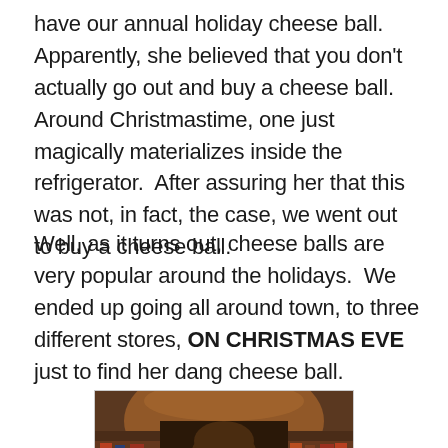have our annual holiday cheese ball.  Apparently, she believed that you don't actually go out and buy a cheese ball.  Around Christmastime, one just magically materializes inside the refrigerator.  After assuring her that this was not, in fact, the case, we went out to buy a cheese ball.
Well, as it turns out, cheese balls are very popular around the holidays.  We ended up going all around town, to three different stores, ON CHRISTMAS EVE just to find her dang cheese ball.
[Figure (photo): A woman with long brown hair wearing a red coat, smiling and looking sideways inside a store with shelves and merchandise visible in the background.]